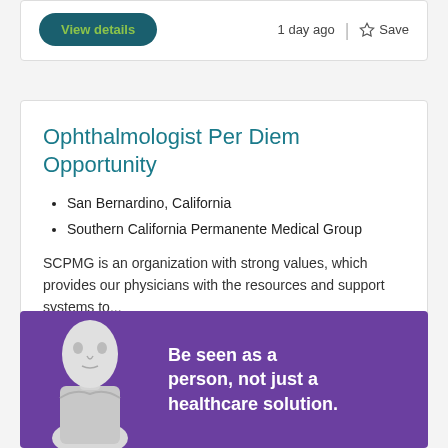View details
1 day ago
Save
Ophthalmologist Per Diem Opportunity
San Bernardino, California
Southern California Permanente Medical Group
SCPMG is an organization with strong values, which provides our physicians with the resources and support systems to...
View details
3 days ago
Save
[Figure (illustration): Purple advertisement banner with a white mannequin head and torso on the left side, and bold white text on the right reading: Be seen as a person, not just a healthcare solution.]